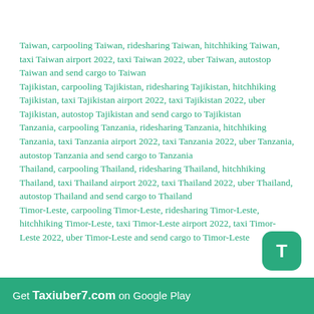Taiwan, carpooling Taiwan, ridesharing Taiwan, hitchhiking Taiwan, taxi Taiwan airport 2022, taxi Taiwan 2022, uber Taiwan, autostop Taiwan and send cargo to Taiwan
Tajikistan, carpooling Tajikistan, ridesharing Tajikistan, hitchhiking Tajikistan, taxi Tajikistan airport 2022, taxi Tajikistan 2022, uber Tajikistan, autostop Tajikistan and send cargo to Tajikistan
Tanzania, carpooling Tanzania, ridesharing Tanzania, hitchhiking Tanzania, taxi Tanzania airport 2022, taxi Tanzania 2022, uber Tanzania, autostop Tanzania and send cargo to Tanzania
Thailand, carpooling Thailand, ridesharing Thailand, hitchhiking Thailand, taxi Thailand airport 2022, taxi Thailand 2022, uber Thailand, autostop Thailand and send cargo to Thailand
Timor-Leste, carpooling Timor-Leste, ridesharing Timor-Leste, hitchhiking Timor-Leste, taxi Timor-Leste airport 2022, taxi Timor-Leste 2022, uber Timor-Leste and send cargo to Timor-Leste
Get Taxiuber7.com on Google Play